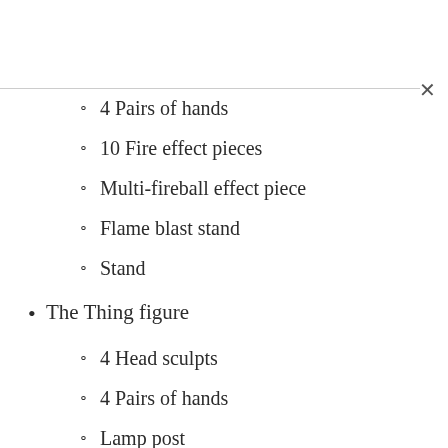4 Pairs of hands
10 Fire effect pieces
Multi-fireball effect piece
Flame blast stand
Stand
The Thing figure
4 Head sculpts
4 Pairs of hands
Lamp post